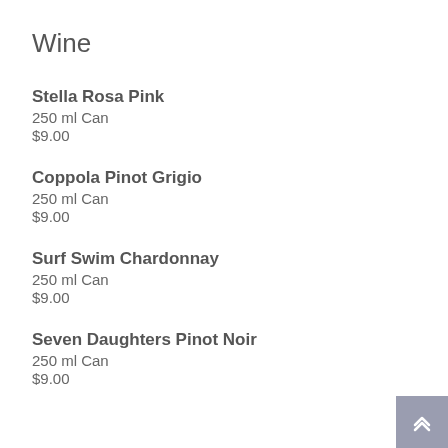Wine
Stella Rosa Pink
250 ml Can
$9.00
Coppola Pinot Grigio
250 ml Can
$9.00
Surf Swim Chardonnay
250 ml Can
$9.00
Seven Daughters Pinot Noir
250 ml Can
$9.00